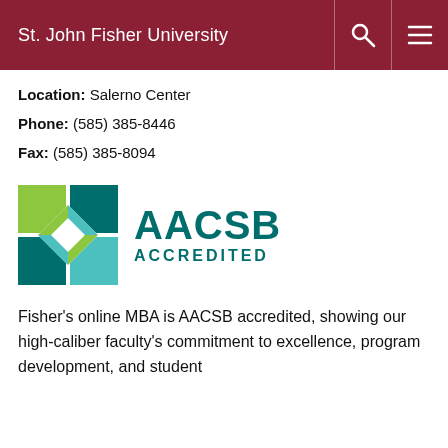St. John Fisher University
Location: Salerno Center
Phone: (585) 385-8446
Fax: (585) 385-8094
[Figure (logo): AACSB Accredited logo with colorful grid icon and teal AACSB ACCREDITED text]
Fisher's online MBA is AACSB accredited, showing our high-caliber faculty's commitment to excellence, program development, and student